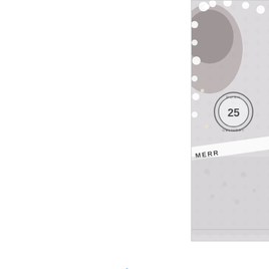[Figure (photo): A crafted Christmas card featuring Santa Claus image with white embossed decorative border with snowflakes and flowers, and a '25' delivery stamp with 'Merry Christmas' text ribbon. Only the right portion of the image is visible on this page.]
Amy
using Fairy Flower Waiting (A Day For Daisies)
[Figure (photo): A crafted greeting card featuring a fairy illustration called 'Fairy Flower Waiting' by A Day For Daisies. The fairy has green hair, wears a purple dress, and holds a flower. The image is framed in a green polka-dot oval on a light background with purple/lavender layered card borders.]